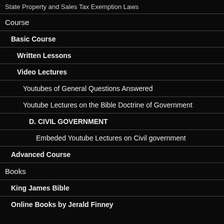State Property and Sales Tax Exemption Laws
Course
Basic Course
Written Lessons
Video Lectures
Youtubes of General Questions Answered
Youtube Lectures on the Bible Doctrine of Government
D. CIVIL GOVERNMENT
Embeded Youtube Lectures on Civil government
Advanced Course
Books
King James Bible
Online Books by Jerald Finney